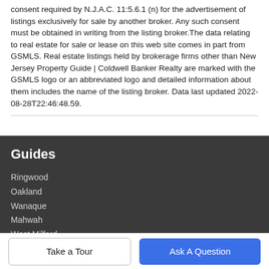consent required by N.J.A.C. 11:5.6.1 (n) for the advertisement of listings exclusively for sale by another broker. Any such consent must be obtained in writing from the listing broker.The data relating to real estate for sale or lease on this web site comes in part from GSMLS. Real estate listings held by brokerage firms other than New Jersey Property Guide | Coldwell Banker Realty are marked with the GSMLS logo or an abbreviated logo and detailed information about them includes the name of the listing broker. Data last updated 2022-08-28T22:46:48.59.
Guides
Ringwood
Oakland
Wanaque
Mahwah
West Milford
Take a Tour
Ask A Question